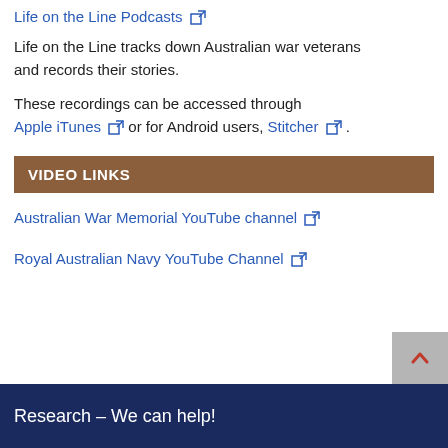Life on the Line Podcasts [external link]
Life on the Line tracks down Australian war veterans and records their stories.
These recordings can be accessed through Apple iTunes [external link] or for Android users, Stitcher [external link].
VIDEO LINKS
Australian War Memorial YouTube channel [external link]
Royal Australian Navy YouTube Channel [external link]
Research – We can help!